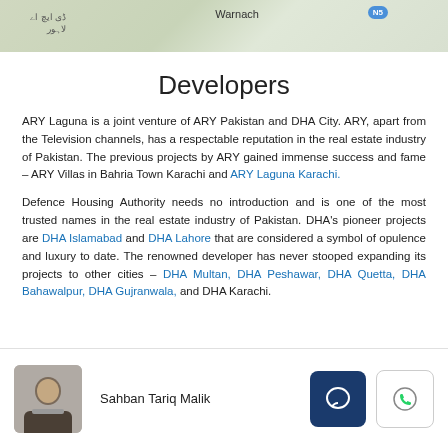[Figure (map): Partial map strip showing road/area layout with Warnach label and N5 route badge, and Urdu text on the left side]
Developers
ARY Laguna is a joint venture of ARY Pakistan and DHA City. ARY, apart from the Television channels, has a respectable reputation in the real estate industry of Pakistan. The previous projects by ARY gained immense success and fame – ARY Villas in Bahria Town Karachi and ARY Laguna Karachi.
Defence Housing Authority needs no introduction and is one of the most trusted names in the real estate industry of Pakistan. DHA's pioneer projects are DHA Islamabad and DHA Lahore that are considered a symbol of opulence and luxury to date. The renowned developer has never stooped expanding its projects to other cities – DHA Multan, DHA Peshawar, DHA Quetta, DHA Bahawalpur, DHA Gujranwala, and DHA Karachi.
Sahban Tariq Malik